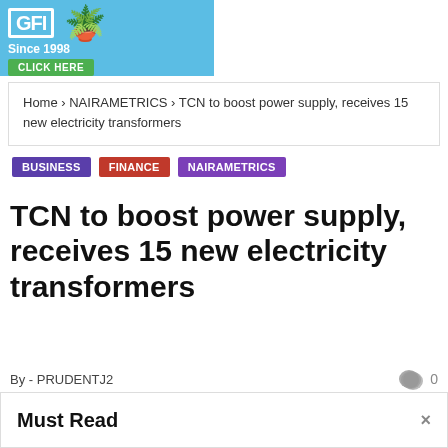[Figure (photo): Advertisement banner: blue background with white logo box showing 'GFI', a flower pot illustration, text 'Since 1998' and green 'CLICK HERE' button]
Home > NAIRAMETRICS > TCN to boost power supply, receives 15 new electricity transformers
BUSINESS
FINANCE
NAIRAMETRICS
TCN to boost power supply, receives 15 new electricity transformers
By - PRUDENTJ2    0
Must Read